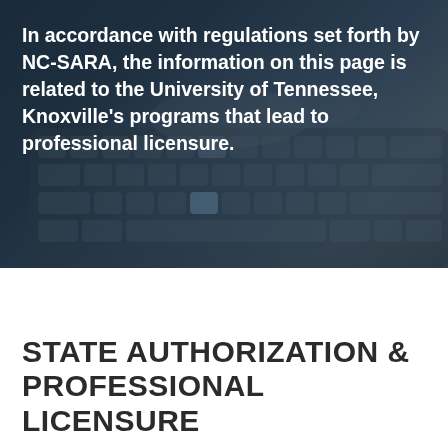[Figure (photo): Dark background photo of hands typing on a laptop keyboard, with a dark navy/teal overlay tint.]
In accordance with regulations set forth by NC-SARA, the information on this page is related to the University of Tennessee, Knoxville's programs that lead to professional licensure.
STATE AUTHORIZATION & PROFESSIONAL LICENSURE